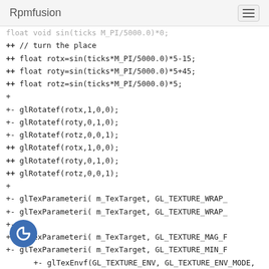Rpmfusion
float rotx=sin(ticks*M_PI/5000.0)*5-15;
float roty=sin(ticks*M_PI/5000.0)*5+45;
float rotz=sin(ticks*M_PI/5000.0)*5;
glRotatef(rotx,1,0,0);
glRotatef(roty,0,1,0);
glRotatef(rotz,0,0,1);
glRotatef(rotx,1,0,0);
glRotatef(roty,0,1,0);
glRotatef(rotz,0,0,1);
glTexParameteri( m_TexTarget, GL_TEXTURE_WRAP_
glTexParameteri( m_TexTarget, GL_TEXTURE_WRAP_
glTexParameteri( m_TexTarget, GL_TEXTURE_MAG_F
glTexParameteri( m_TexTarget, GL_TEXTURE_MIN_F
glTexEnvf(GL_TEXTURE_ENV, GL_TEXTURE_ENV_MODE,